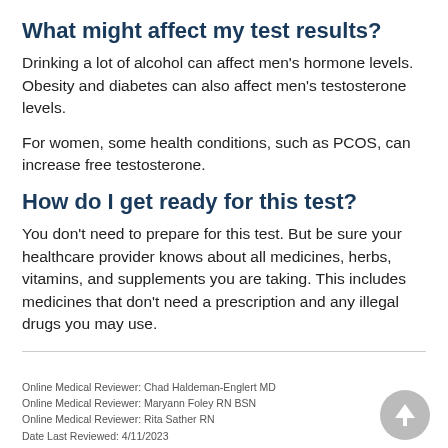What might affect my test results?
Drinking a lot of alcohol can affect men's hormone levels. Obesity and diabetes can also affect men's testosterone levels.
For women, some health conditions, such as PCOS, can increase free testosterone.
How do I get ready for this test?
You don't need to prepare for this test. But be sure your healthcare provider knows about all medicines, herbs, vitamins, and supplements you are taking. This includes medicines that don't need a prescription and any illegal drugs you may use.
Online Medical Reviewer: Chad Haldeman-Englert MD
Online Medical Reviewer: Maryann Foley RN BSN
Online Medical Reviewer: Rita Sather RN
Date Last Reviewed: 4/11/2023